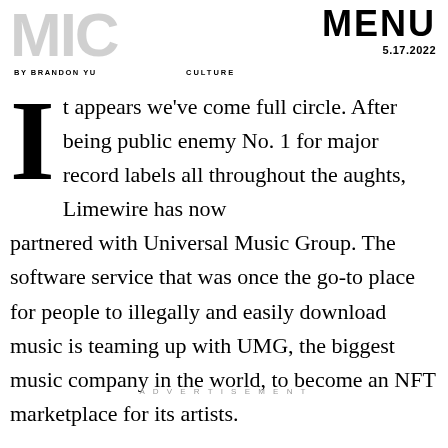MIC | BY BRANDON YU | CULTURE | MENU 5.17.2022
It appears we've come full circle. After being public enemy No. 1 for major record labels all throughout the aughts, Limewire has now partnered with Universal Music Group. The software service that was once the go-to place for people to illegally and easily download music is teaming up with UMG, the biggest music company in the world, to become an NFT marketplace for its artists.
ADVERTISEMENT